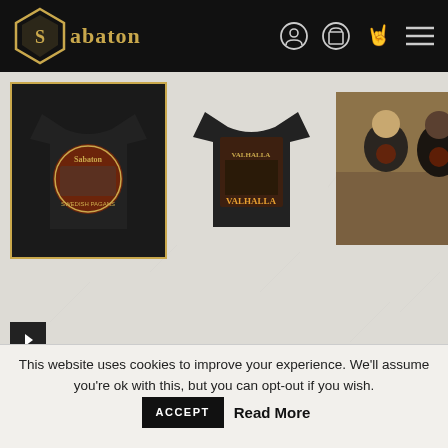Sabaton — navigation header with logo, account, cart, rock hand, and menu icons
[Figure (photo): Three product thumbnail images: (1) Sabaton Swedish Pagans T-shirt front with circular band graphic, selected with gold border; (2) T-shirt back with Valhalla gothic lettering design; (3) Two people wearing the black Sabaton t-shirts]
Swedish Pagans T-shirt
€26.89
This website uses cookies to improve your experience. We'll assume you're ok with this, but you can opt-out if you wish.
ACCEPT
Read More